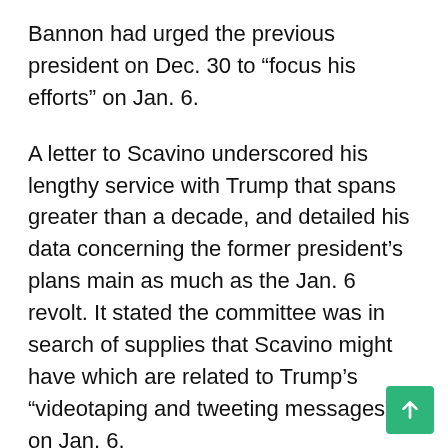Bannon had urged the previous president on Dec. 30 to “focus his efforts” on Jan. 6.
A letter to Scavino underscored his lengthy service with Trump that spans greater than a decade, and detailed his data concerning the former president’s plans main as much as the Jan. 6 revolt. It stated the committee was in search of supplies that Scavino might have which are related to Trump’s “videotaping and tweeting messages” on Jan. 6.
White Home Deputy Chief of Employees for Communications Dan Scavino addresses the Republican Nationwide Conference in a